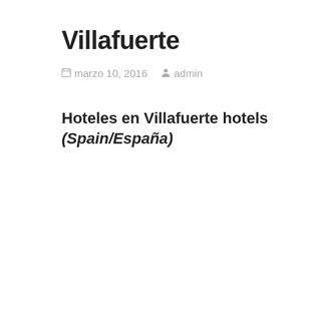Villafuerte
marzo 10, 2016   admin
Hoteles en Villafuerte hotels (Spain/España)